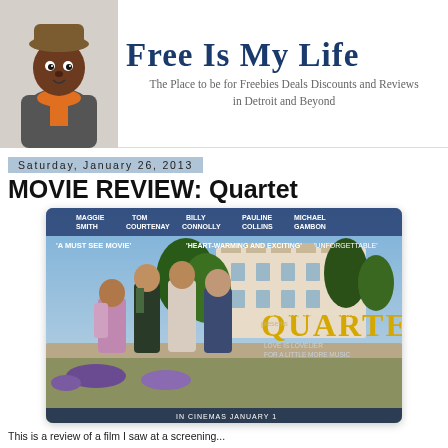FREE IS MY LIFE — The Place to be for Freebies Deals Discounts and Reviews in Detroit and Beyond
Saturday, January 26, 2013
MOVIE REVIEW: Quartet
[Figure (photo): Movie poster for Quartet directed by Dustin Hoffman, showing four elderly actors standing in a garden in front of a mansion. Stars Maggie Smith, Tom Courtenay, Billy Connolly, Pauline Collins, and Michael Gambon. Text on poster: 'A MUST SEE MOVIE', 'HEART-WARMING AND EXCITING', 'UNFORGETTABLE', 'DUSTIN HOFFMAN', 'QUARTET', 'IN CINEMAS JANUARY 1']
This is a review of a film I saw at a screening...